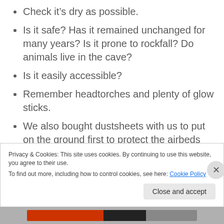Check it’s dry as possible.
Is it safe? Has it remained unchanged for many years? Is it prone to rockfall? Do animals live in the cave?
Is it easily accessible?
Remember headtorches and plenty of glow sticks.
We also bought dustsheets with us to put on the ground first to protect the airbeds but also allowed us to walk around with no shoes.
Privacy & Cookies: This site uses cookies. By continuing to use this website, you agree to their use.
To find out more, including how to control cookies, see here: Cookie Policy
Close and accept